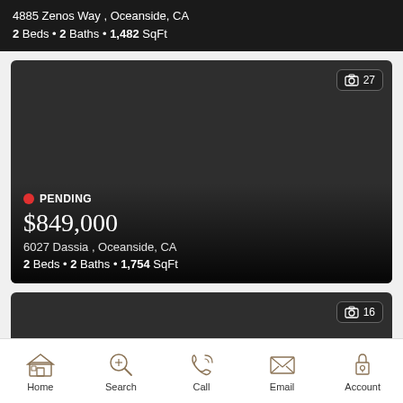4885 Zenos Way , Oceanside, CA
2 Beds • 2 Baths • 1,482 SqFt
[Figure (photo): Dark listing card with photo badge showing 27 photos, PENDING status, price $849,000, address 6027 Dassia, Oceanside, CA, 2 Beds, 2 Baths, 1,754 SqFt]
[Figure (photo): Partial listing card with photo badge showing 16 photos]
Home  Search  Call  Email  Account